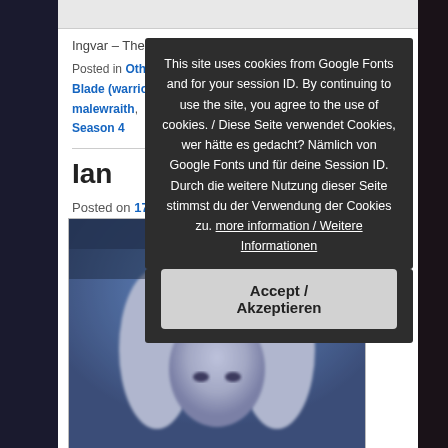Ingvar – The Kindred Part 1 (4×1A)
Posted in Other Worlds Tagged Blade (warrior), Epimethia, malewraith, Season 4
Ian
Posted on 17. September 2020
[Figure (photo): Photo of a fantasy character with long white/silver hair and pale skin, blue-toned lighting, blurred background]
This site uses cookies from Google Fonts and for your session ID. By continuing to use the site, you agree to the use of cookies. / Diese Seite verwendet Cookies, wer hätte es gedacht? Nämlich von Google Fonts und für deine Session ID. Durch die weitere Nutzung dieser Seite stimmst du der Verwendung der Cookies zu. more information / Weitere Informationen
Accept / Akzeptieren